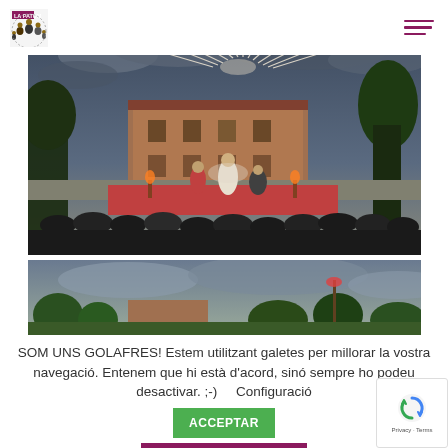[Figure (logo): La Patum logo with text and icon showing group of people]
[Figure (photo): Outdoor night event with fireworks over a historic building, performers on stage, audience watching]
[Figure (photo): Outdoor daytime scene partial view, green landscape and cloudy sky]
SOM UNS GOLAFRES! Estem utilitzant galetes per millorar la vostra navegació. Entenem que hi està d'acord, sinó sempre ho podeu desactivar. ;-)    Configuració
ACCEPTAR
REBUTJAR